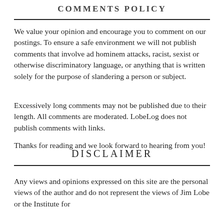COMMENTS POLICY
We value your opinion and encourage you to comment on our postings. To ensure a safe environment we will not publish comments that involve ad hominem attacks, racist, sexist or otherwise discriminatory language, or anything that is written solely for the purpose of slandering a person or subject.
Excessively long comments may not be published due to their length. All comments are moderated. LobeLog does not publish comments with links.
Thanks for reading and we look forward to hearing from you!
DISCLAIMER
Any views and opinions expressed on this site are the personal views of the author and do not represent the views of Jim Lobe or the Institute for